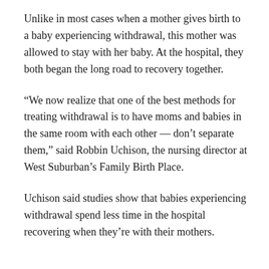Unlike in most cases when a mother gives birth to a baby experiencing withdrawal, this mother was allowed to stay with her baby. At the hospital, they both began the long road to recovery together.
“We now realize that one of the best methods for treating withdrawal is to have moms and babies in the same room with each other — don’t separate them,” said Robbin Uchison, the nursing director at West Suburban’s Family Birth Place.
Uchison said studies show that babies experiencing withdrawal spend less time in the hospital recovering when they’re with their mothers.